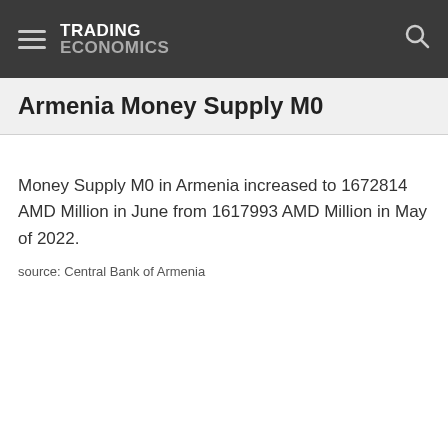TRADING ECONOMICS
Armenia Money Supply M0
Money Supply M0 in Armenia increased to 1672814 AMD Million in June from 1617993 AMD Million in May of 2022.
source: Central Bank of Armenia